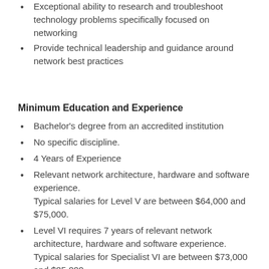Exceptional ability to research and troubleshoot technology problems specifically focused on networking
Provide technical leadership and guidance around network best practices
Minimum Education and Experience
Bachelor's degree from an accredited institution
No specific discipline.
4 Years of Experience
Relevant network architecture, hardware and software experience. Typical salaries for Level V are between $64,000 and $75,000.
Level VI requires 7 years of relevant network architecture, hardware and software experience. Typical salaries for Specialist VI are between $73,000 and $85,000